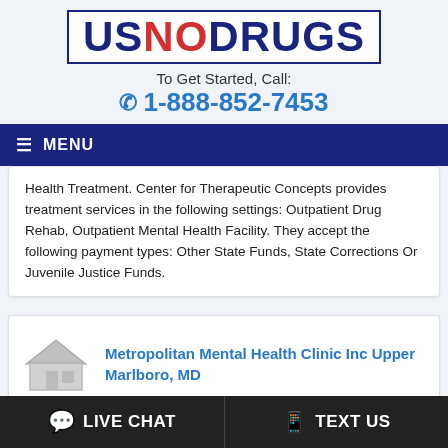[Figure (logo): USNODRUGS logo with US and DRUGS in dark navy blue and NO in red, inside a bordered box]
To Get Started, Call:
1-888-852-7453
≡ MENU
Health Treatment. Center for Therapeutic Concepts provides treatment services in the following settings: Outpatient Drug Rehab, Outpatient Mental Health Facility. They accept the following payment types: Other State Funds, State Corrections Or Juvenile Justice Funds.
Metropolitan Mental Health Clinic Inc Upper Marlboro, MD
💬 LIVE CHAT
📱 TEXT US